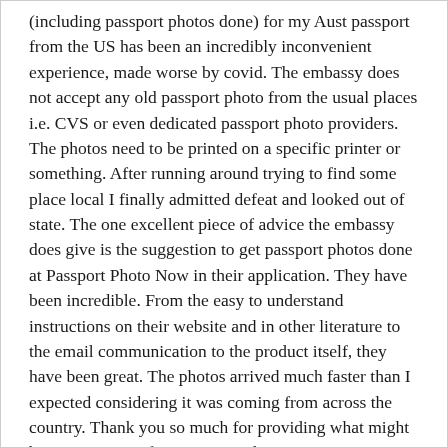(including passport photos done) for my Aust passport from the US has been an incredibly inconvenient experience, made worse by covid. The embassy does not accept any old passport photo from the usual places i.e. CVS or even dedicated passport photo providers. The photos need to be printed on a specific printer or something. After running around trying to find some place local I finally admitted defeat and looked out of state. The one excellent piece of advice the embassy does give is the suggestion to get passport photos done at Passport Photo Now in their application. They have been incredible. From the easy to understand instructions on their website and in other literature to the email communication to the product itself, they have been great. The photos arrived much faster than I expected considering it was coming from across the country. Thank you so much for providing what might be a rare service for Aussies in the US!
Nirvana Chetty